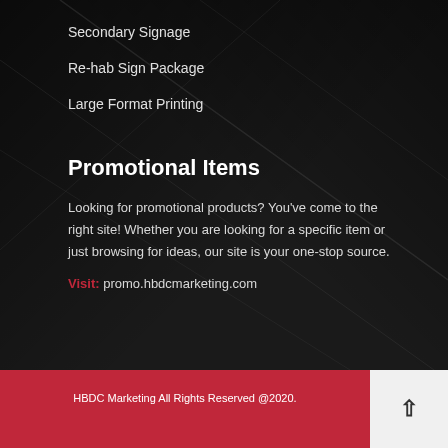Secondary Signage
Re-hab Sign Package
Large Format Printing
Promotional Items
Looking for promotional products? You've come to the right site! Whether you are looking for a specific item or just browsing for ideas, our site is your one-stop source.
Visit: promo.hbdcmarketing.com
HBDC Marketing All Rights Reserved @2020.